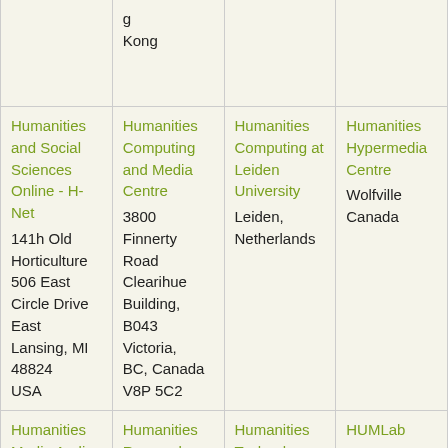| [truncated top row col1] | g
Kong |  |  |
| Humanities and Social Sciences Online - H-Net
141h Old Horticulture
506 East Circle Drive
East Lansing, MI 48824
USA | Humanities Computing and Media Centre
3800 Finnerty Road
Clearihue Building, B043
Victoria, BC, Canada V8P 5C2 | Humanities Computing at Leiden University
Leiden, Netherlands | Humanities Hypermedia Centre
Wolfville
Canada |
| Humanities Media Audio-Visual Resource and Computing Centre | Humanities Research Institute - | Humanities Technology and | HUMLab
Umeå, |